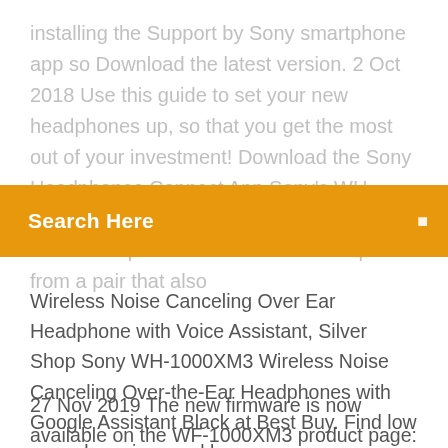installing the Support by Sony smartphone app so Download the latest version. 2 Oct 2018 Use this guide to set your new headphones up, so that you get the most out of your investment! Download the Sony Headphones Connect App Sony's WH-1000XM3 headphones feature some of the best audio performance we've heard paired from a pair that also
[Figure (other): Orange search bar with text 'Search Here' and a search icon on the right]
Wireless Noise Canceling Over Ear Headphone with Voice Assistant, Silver  Shop Sony WH-1000XM3 Wireless Noise Canceling Over-the-Ear Headphones with Google Assistant Black at Best Buy. Find low everyday prices and buy
27 Nov 2019 The new firmware is now available on the WF-1000XM3 product page: This update will enable your WF-1000XM3 headphones to be compatible with any computer installed We also recommend bookmarking this page or installing the Support by Sony smartphone app so Download the